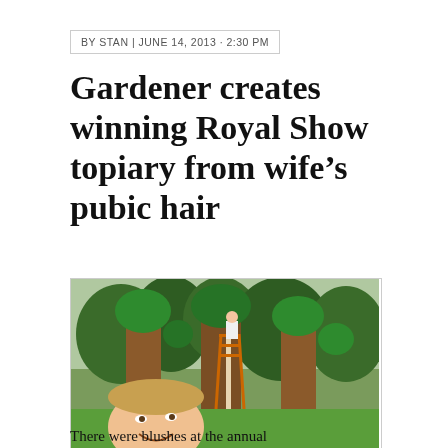BY STAN | JUNE 14, 2013 · 2:30 PM
Gardener creates winning Royal Show topiary from wife's pubic hair
[Figure (photo): Composite photo showing topiary bushes being trimmed by a gardener on a ladder, with a smiling man's face composited in the foreground.]
The only bush to be shaped with wax strips
There were blushes at the annual